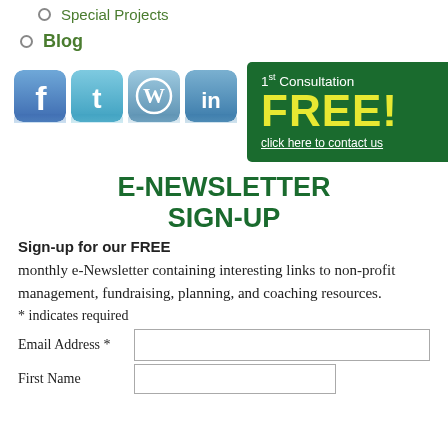Special Projects
Blog
[Figure (infographic): Social media icons (Facebook, Twitter, WordPress, LinkedIn) with reflections, alongside a green advertisement box saying '1st Consultation FREE! click here to contact us']
E-NEWSLETTER SIGN-UP
Sign-up for our FREE
monthly e-Newsletter containing interesting links to non-profit management, fundraising, planning, and coaching resources.
* indicates required
Email Address *
First Name